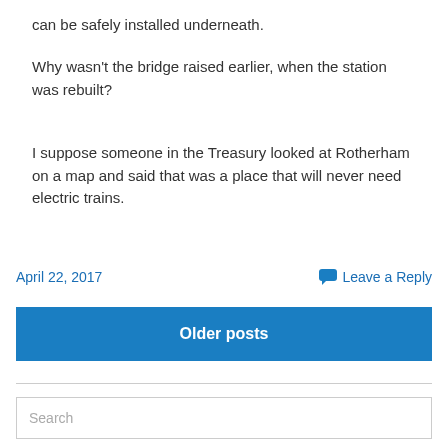can be safely installed underneath.
Why wasn't the bridge raised earlier, when the station was rebuilt?
I suppose someone in the Treasury looked at Rotherham on a map and said that was a place that will never need electric trains.
April 22, 2017    Leave a Reply
Older posts
Search